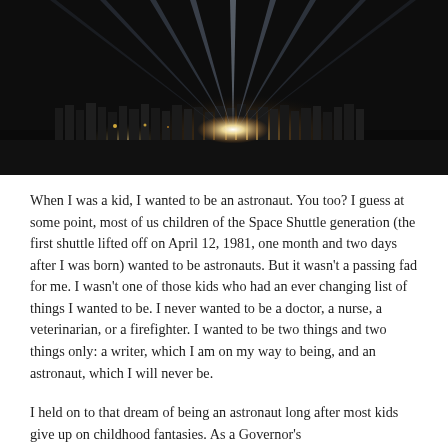[Figure (photo): Night photograph of searchlight beams or light rays shooting upward into a dark sky above what appears to be a grain elevator or industrial building silhouette lit from below.]
When I was a kid, I wanted to be an astronaut. You too? I guess at some point, most of us children of the Space Shuttle generation (the first shuttle lifted off on April 12, 1981, one month and two days after I was born) wanted to be astronauts. But it wasn't a passing fad for me. I wasn't one of those kids who had an ever changing list of things I wanted to be. I never wanted to be a doctor, a nurse, a veterinarian, or a firefighter. I wanted to be two things and two things only: a writer, which I am on my way to being, and an astronaut, which I will never be.
I held on to that dream of being an astronaut long after most kids give up on childhood fantasies. As a Governor's